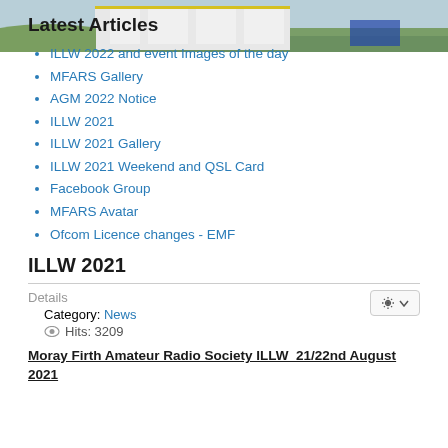[Figure (photo): Partial view of a white building (lighthouse station) with a dirt road and blue car, green field and sky in background]
Latest Articles
ILLW 2022 and event Images of the day
MFARS Gallery
AGM 2022 Notice
ILLW 2021
ILLW 2021 Gallery
ILLW 2021 Weekend and QSL Card
Facebook Group
MFARS Avatar
Ofcom Licence changes - EMF
ILLW 2021
Details
Category: News
Hits: 3209
Moray Firth Amateur Radio Society ILLW  21/22nd August 2021